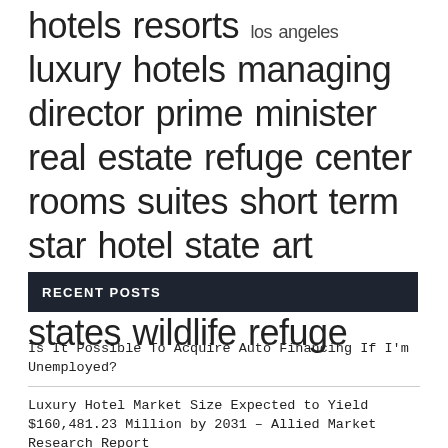hotels resorts los angeles luxury hotels managing director prime minister real estate refuge center rooms suites short term star hotel state art swimming pool united states wildlife refuge
RECENT POSTS
Is It Possible To Acquire Auto Financing If I'm Unemployed?
Luxury Hotel Market Size Expected to Yield $160,481.23 Million by 2031 – Allied Market Research Report